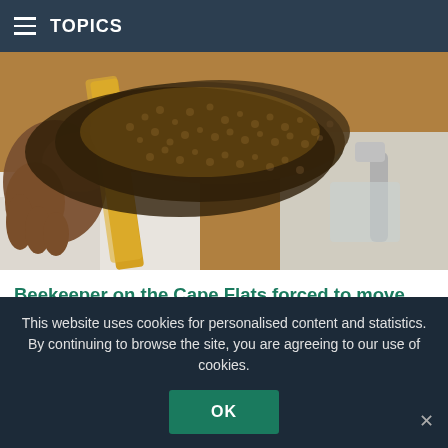TOPICS
[Figure (photo): Close-up photo of a beekeeper holding a wooden frame covered with a dense swarm of bees, with another person visible in the background.]
Beekeeper on the Cape Flats forced to move hives due to vandalism
Yesterday at 21:20 PM, via SABC News
A Gugulethu beekeeper on the Cape Flats says has been forced to move his bees to a secluded location after 2 of his hives
This website uses cookies for personalised content and statistics. By continuing to browse the site, you are agreeing to our use of cookies.